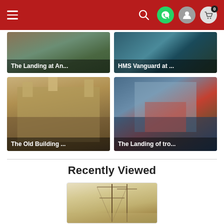Navigation bar with hamburger menu, search, WhatsApp, user, and cart (0) icons on red background
[Figure (photo): Partial top of painting: The Landing at An...]
[Figure (photo): Partial top of painting: HMS Vanguard at ...]
[Figure (photo): Historical photo of The Old Building ...]
[Figure (photo): Painting: The Landing of tro...]
Recently Viewed
[Figure (photo): Sepia painting showing a ship with tall masts]